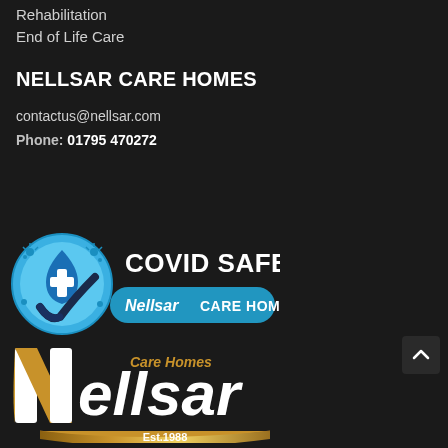Rehabilitation
End of Life Care
NELLSAR CARE HOMES
contactus@nellsar.com
Phone: 01795 470272
[Figure (logo): COVID SAFE Nellsar Care Homes badge with blue circle, water droplet, cross symbol and checkmark]
[Figure (logo): Nellsar Care Homes logo with stylized N letterform in gold/white and Est. 1988 text on gold ribbon]